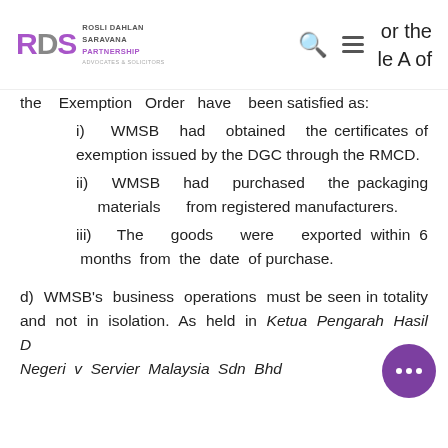RDS ROSLI DAHLAN SARAVANA PARTNERSHIP ADVOCATES & SOLICITORS — [search icon] [menu icon] — or the [Schedule] A of
the Exemption Order have been satisfied as:
i) WMSB had obtained the certificates of exemption issued by the DGC through the RMCD.
ii) WMSB had purchased the packaging materials from registered manufacturers.
iii) The goods were exported within 6 months from the date of purchase.
d) WMSB's business operations must be seen in totality and not in isolation. As held in Ketua Pengarah Hasil Dalam Negeri v Servier Malaysia Sdn Bhd